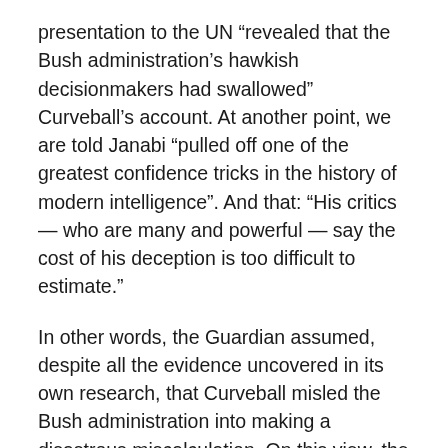presentation to the UN “revealed that the Bush administration’s hawkish decisionmakers had swallowed” Curveball’s account. At another point, we are told Janabi “pulled off one of the greatest confidence tricks in the history of modern intelligence”. And that: “His critics — who are many and powerful — say the cost of his deception is too difficult to estimate.”
In other words, the Guardian assumed, despite all the evidence uncovered in its own research, that Curveball misled the Bush administration into making a disastrous miscalculation. On this view, the White House was the real victim of Curveball’s lies, not the Iraqi people — more than a million of whom are dead as a result of the invasion, according to the best available figures, and four million of whom have been forced into exile.